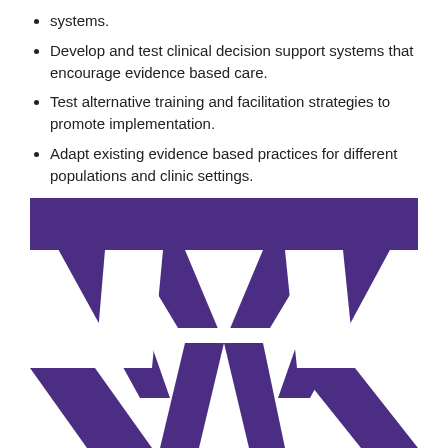systems.
Develop and test clinical decision support systems that encourage evidence based care.
Test alternative training and facilitation strategies to promote implementation.
Adapt existing evidence based practices for different populations and clinic settings.
[Figure (logo): University of Washington block W logo in purple on white background]